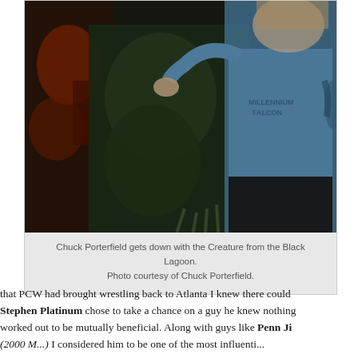[Figure (photo): A person wearing a blue 'Millennium Falcon' t-shirt posing with a person dressed in a Creature from the Black Lagoon costume. The photo is dark and taken indoors.]
Chuck Porterfield gets down with the Creature from the Black Lagoon. Photo courtesy of Chuck Porterfield.
that PCW had brought wrestling back to Atlanta I knew there could be something special. Stephen Platinum chose to take a chance on a guy he knew nothing about. It worked out to be mutually beneficial. Along with guys like Penn Ji... (2000 M...): I consider him to be one of the most influential...